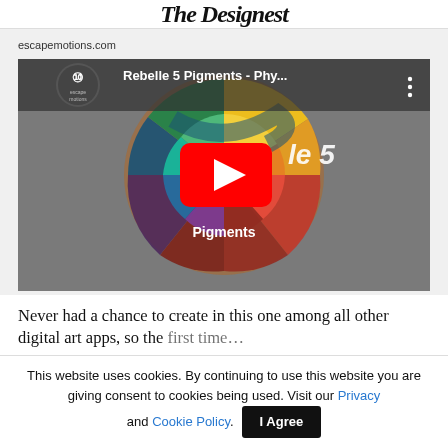The Designest
escapemotions.com
[Figure (screenshot): YouTube video thumbnail for 'Rebelle 5 Pigments - Phy...' with a colorful pigment wheel image and a red YouTube play button in the center. The escape motions channel logo is visible top left.]
Never had a chance to create in this one among all other digital art apps, so the first time…
This website uses cookies. By continuing to use this website you are giving consent to cookies being used. Visit our Privacy and Cookie Policy.